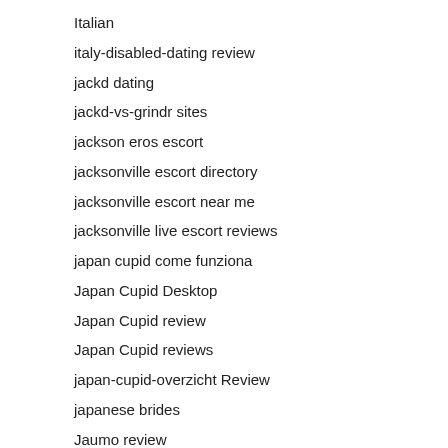Italian
italy-disabled-dating review
jackd dating
jackd-vs-grindr sites
jackson eros escort
jacksonville escort directory
jacksonville escort near me
jacksonville live escort reviews
japan cupid come funziona
Japan Cupid Desktop
Japan Cupid review
Japan Cupid reviews
japan-cupid-overzicht Review
japanese brides
Jaumo review
Jaumo visitors
Jdate dating app
jdate sign in